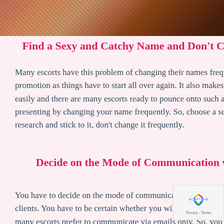[Figure (photo): Partial photo strip at the top showing a person with reddish-brown hair in warm tones]
Find a Sexy and Catchy Name and Don't Change It Frequently
Many escorts have this problem of changing their names frequently. Doing so damages their promotion as things have to start all over again. It also makes it difficult for the clients to find you easily and there are many escorts ready to pounce onto such an opportunity that you might be presenting by changing your name frequently. So, choose a sexy and catchy name after thorough research and stick to it, don't change it frequently.
Decide on the Mode of Communication with Your Clients
You have to decide on the mode of communication that you will use to communicate with your clients. You have to be certain whether you will accept calls from the clients or text only. Also, many escorts prefer to communicate via emails only. So, you need to get a new phone number and a new email address for your business purpose.